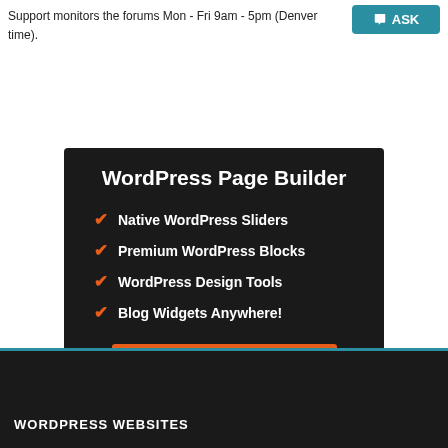Support monitors the forums Mon - Fri 9am - 5pm (Denver time).
[Figure (other): Teal ASK button with speech bubble icon]
[Figure (infographic): Black promo box: WordPress Page Builder with four checkmark features and orange CTA button]
WORDPRESS WEBSITES